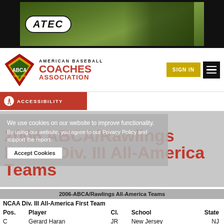[Figure (photo): ATEC baseball pitching machine advertisement banner with dark background and green netting]
[Figure (logo): American Baseball Coaches Association (ABCA) logo with diamond shape and baseball]
AMERICAN BASEBALL COACHES ASSOCIATION
SIGN IN
ACCESSIBILITY
We use cookies on our website to improve functionality.
By using our website, you agree to our Privacy Policy and support the report.
2006 ABCA/Rawlings NCAA Div. III All-America Teams
| Pos. | Player | Cl. | School | State |
| --- | --- | --- | --- | --- |
| C | Gerard Haran | JR | New Jersey | NJ |
| 1B | Blake Bullis | JR | New Jersey | NJ |